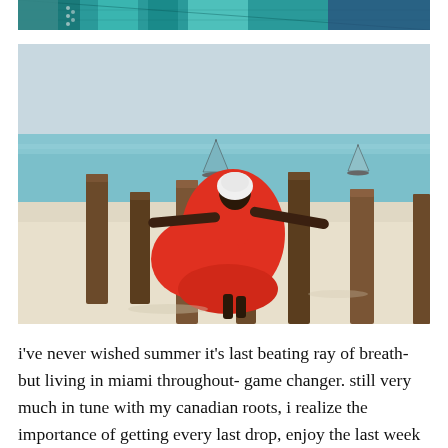[Figure (photo): Partial cropped photo at top showing colorful teal/blue patterned fabric or textile with a person visible]
[Figure (photo): A person wearing a flowing red/orange dress and white head wrap, posing dramatically with arms outstretched between weathered wooden posts on a white sand beach, with turquoise water and sailboats in the background]
i've never wished summer it's last beating ray of breath- but living in miami throughout- game changer. still very much in tune with my canadian roots, i realize the importance of getting every last drop, enjoy the last week